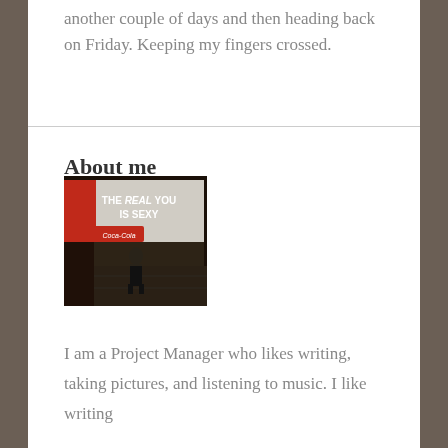another couple of days and then heading back on Friday. Keeping my fingers crossed.
About me
[Figure (photo): A person standing in what appears to be a city square at night, with a large illuminated billboard in the background reading 'THE REAL YOU IS SEXY' with a Coca-Cola advertisement below it.]
I am a Project Manager who likes writing, taking pictures, and listening to music. I like writing